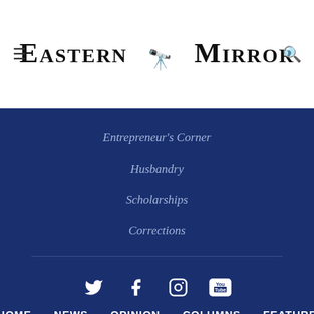Eastern Mirror
Entrepreneur's Corner
Husbandry
Scholarships
Corrections
[Figure (infographic): Social media icons: Twitter, Facebook, Instagram, YouTube]
HOME  NEWS  OPINION  COLUMNS  FEATURE  SPORTS  E-PAPER  GALLERY